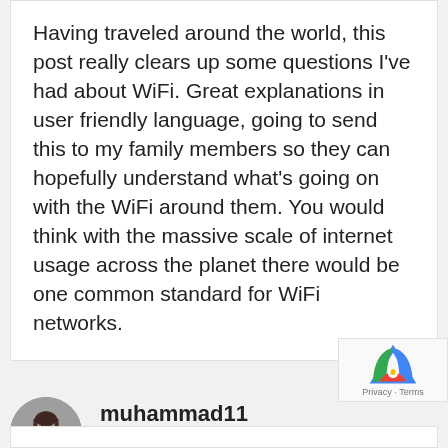Having traveled around the world, this post really clears up some questions I've had about WiFi. Great explanations in user friendly language, going to send this to my family members so they can hopefully understand what's going on with the WiFi around them. You would think with the massive scale of internet usage across the planet there would be one common standard for WiFi networks.
muhammad11
2013/07/17 at 2:37 pm